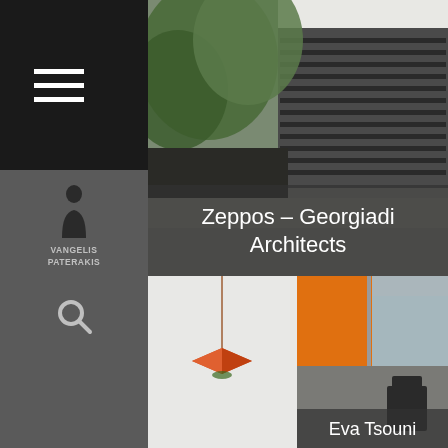[Figure (screenshot): Website screenshot showing a photography/architecture portfolio site. Left sidebar in dark gray with hamburger menu, person icon logo labeled VANGELIS PATERAKIS, and search icon. Main area shows large top photo of a modernist building exterior with trees and horizontal louvers, overlaid with text Zeppos - Georgiadi Architects. Below are two thumbnail images: left shows a small orange hanging object on white background, right shows an orange shade/awning with blurred urban background. Bottom strip shows Eva Tsouni text overlay.]